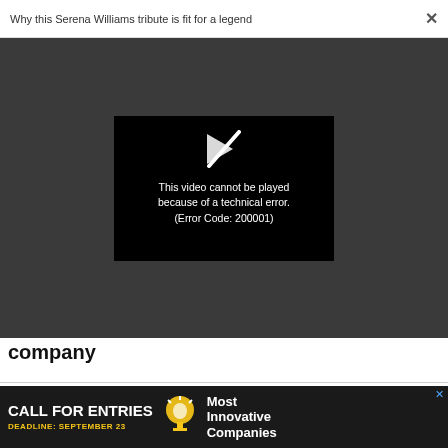Why this Serena Williams tribute is fit for a legend ×
[Figure (screenshot): Video player showing black screen with broken play icon and error message: 'This video cannot be played because of a technical error. (Error Code: 200001)']
company
Advertise | Privacy Policy | Terms | Notice of Collection | Do Not Sell My Data | Permissions | Help Center | About Us | Site Map |
[Figure (infographic): Advertisement banner: CALL FOR ENTRIES — DEADLINE: SEPTEMBER 23 — Most Innovative Companies]